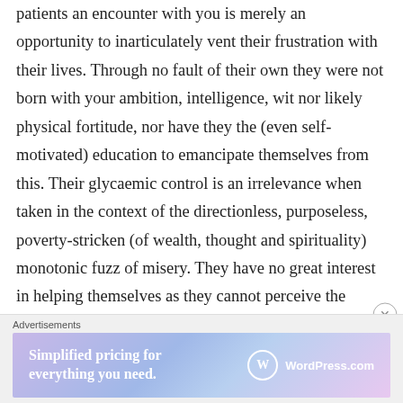patients an encounter with you is merely an opportunity to inarticulately vent their frustration with their lives. Through no fault of their own they were not born with your ambition, intelligence, wit nor likely physical fortitude, nor have they the (even self-motivated) education to emancipate themselves from this. Their glycaemic control is an irrelevance when taken in the context of the directionless, purposeless, poverty-stricken (of wealth, thought and spirituality) monotonic fuzz of misery. They have no great interest in helping themselves as they cannot perceive the benefits of doing so. There
Advertisements
[Figure (other): WordPress.com advertisement banner: 'Simplified pricing for everything you need.' with WordPress.com logo]